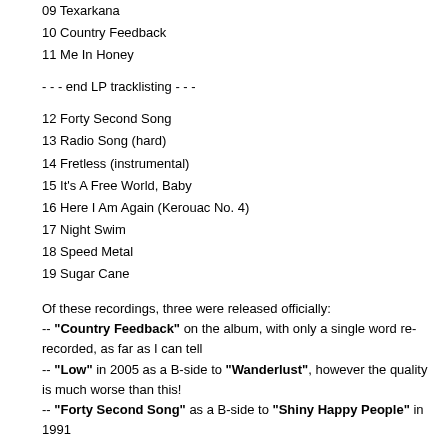09 Texarkana
10 Country Feedback
11 Me In Honey
- - - end LP tracklisting - - -
12 Forty Second Song
13 Radio Song (hard)
14 Fretless (instrumental)
15 It's A Free World, Baby
16 Here I Am Again (Kerouac No. 4)
17 Night Swim
18 Speed Metal
19 Sugar Cane
Of these recordings, three were released officially:
-- "Country Feedback" on the album, with only a single word re-recorded, as far as I can tell
-- "Low" in 2005 as a B-side to "Wanderlust", however the quality is much worse than this!
-- "Forty Second Song" as a B-side to "Shiny Happy People" in 1991
The following tracks saw re-recorded versions released: